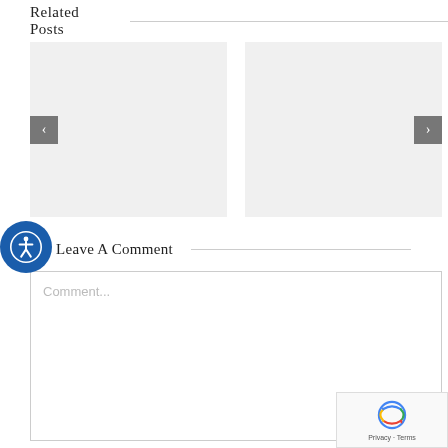Related Posts
[Figure (screenshot): Two gray placeholder image cards in a carousel with left and right navigation arrows]
Leave A Comment
[Figure (infographic): Blue circular accessibility button with wheelchair user icon]
Comment...
[Figure (screenshot): reCAPTCHA badge with Google reCAPTCHA logo and Privacy - Terms text]